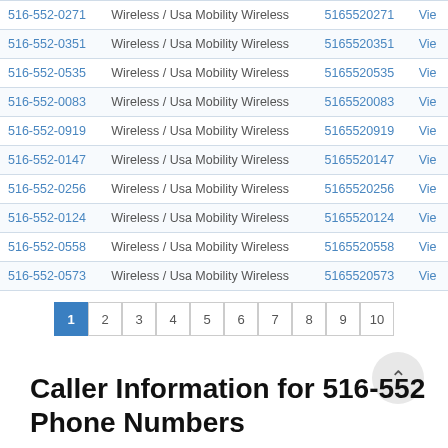| Phone | Type | Number |  |
| --- | --- | --- | --- |
| 516-552-0271 | Wireless / Usa Mobility Wireless | 5165520271 | Vie |
| 516-552-0351 | Wireless / Usa Mobility Wireless | 5165520351 | Vie |
| 516-552-0535 | Wireless / Usa Mobility Wireless | 5165520535 | Vie |
| 516-552-0083 | Wireless / Usa Mobility Wireless | 5165520083 | Vie |
| 516-552-0919 | Wireless / Usa Mobility Wireless | 5165520919 | Vie |
| 516-552-0147 | Wireless / Usa Mobility Wireless | 5165520147 | Vie |
| 516-552-0256 | Wireless / Usa Mobility Wireless | 5165520256 | Vie |
| 516-552-0124 | Wireless / Usa Mobility Wireless | 5165520124 | Vie |
| 516-552-0558 | Wireless / Usa Mobility Wireless | 5165520558 | Vie |
| 516-552-0573 | Wireless / Usa Mobility Wireless | 5165520573 | Vie |
1 2 3 4 5 6 7 8 9 10
Caller Information for 516-552 Phone Numbers